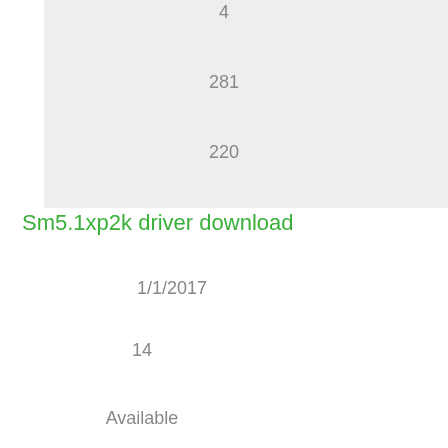[Figure (other): Gray background box containing numbers 4, 281, and 220 arranged vertically]
Sm5.1xp2k driver download
1/1/2017
14
Available